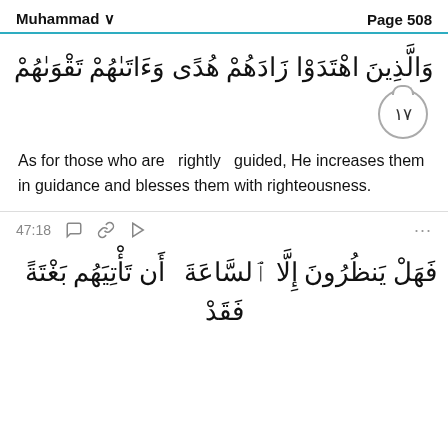Muhammad   Page 508
وَالَّذِينَ اهْتَدَوْا زَادَهُمْ هُدًى وَءَاتَىٰهُمْ تَقْوَىٰهُمْ
١٧
As for those who are  rightly  guided, He increases them in guidance and blesses them with righteousness.
47:18
فَهَلْ يَنظُرُونَ إِلَّا ٱلسَّاعَةَ أَن تَأْتِيَهُم بَغْتَةً فَقَدْ